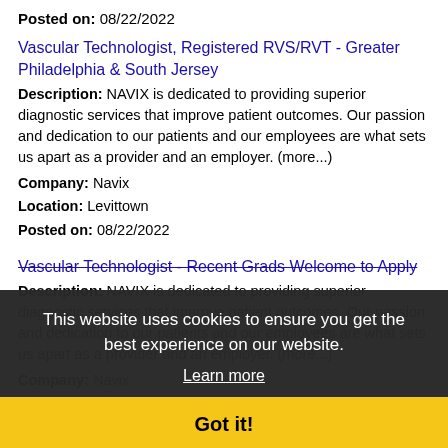Posted on: 08/22/2022
Vascular Technologist, Registered RVS/RVT - Greater Philadelphia & South Jersey
Description: NAVIX is dedicated to providing superior diagnostic services that improve patient outcomes. Our passion and dedication to our patients and our employees are what sets us apart as a provider and an employer. (more...)
Company: Navix
Location: Levittown
Posted on: 08/22/2022
Vascular Technologist - Recent Grads Welcome to Apply
Description: NAVIX is dedicated to providing superior diagnostic services that improve patient outcomes. Our passion and dedication to our patients and our employees are what sets us apart as a provider and an employer. (more...)
Company: Navix
Location: Levittown
Posted on: 08/22/2022
Class A CDL - Dedicated nighttime truck driver
Description: br br Top drivers earn up to 81,000 - Up to 5,000 sign-on bonusAverage pay: 1,200- 1,470 weeklyHome time:
This website uses cookies to ensure you get the best experience on our website.
Learn more
Got it!